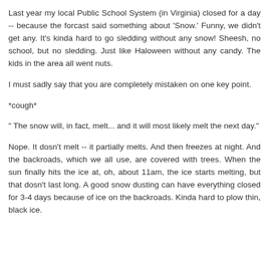Last year my local Public School System (in Virginia) closed for a day -- because the forcast said something about 'Snow.' Funny, we didn't get any. It's kinda hard to go sledding without any snow! Sheesh, no school, but no sledding. Just like Haloween without any candy. The kids in the area all went nuts.
I must sadly say that you are completely mistaken on one key point.
*cough*
" The snow will, in fact, melt... and it will most likely melt the next day."
Nope. It dosn't melt -- it partially melts. And then freezes at night. And the backroads, which we all use, are covered with trees. When the sun finally hits the ice at, oh, about 11am, the ice starts melting, but that dosn't last long. A good snow dusting can have everything closed for 3-4 days because of ice on the backroads. Kinda hard to plow thin, black ice.